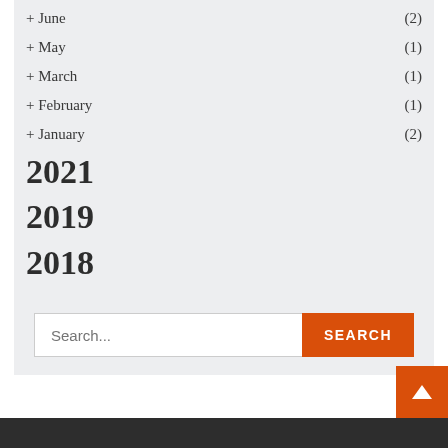+ June (2)
+ May (1)
+ March (1)
+ February (1)
+ January (2)
2021
2019
2018
Search...
SEARCH